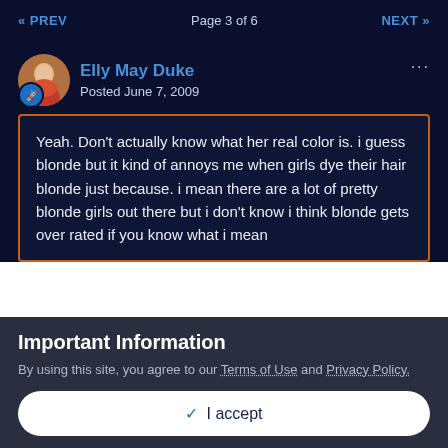« PREV   Page 3 of 6   NEXT »
Elly May Duke
Posted June 7, 2009
Yeah. Don't actually know what her real color is. i guess blonde but it kind of annoys me when girls dye their hair blonde just because. i mean there are a lot of pretty blonde girls out there but i don't know i think blonde gets over rated if you know what i mean
Important Information
By using this site, you agree to our Terms of Use and Privacy Policy.
✓ I accept